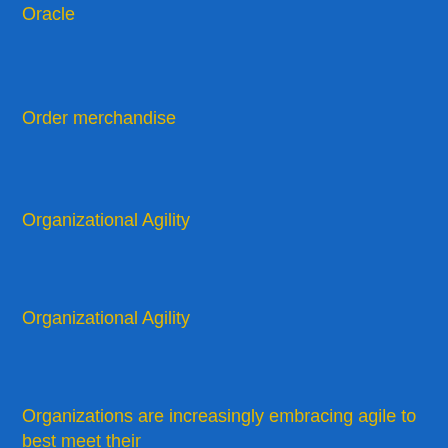Oracle
Order merchandise
Organizational Agility
Organizational Agility
Organizations are increasingly embracing agile to best meet their business needs
Pacific Book Awards
Pacific Rim Book Festival
Paid Engagement
Paid Talk